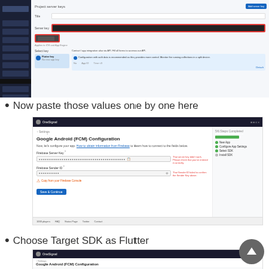[Figure (screenshot): Firebase console screenshot showing project settings with a highlighted server key input field (dark bar with red border) and a highlighted button with red border below it. Left sidebar shows dark navigation menu. Right panel shows Firebase App configuration options including API key table.]
Now paste those values one by one here
[Figure (screenshot): OneSignal Google Android (FCM) Configuration page screenshot showing Firebase Server Key and Firebase Server ID input fields with dotted password-style content. Error messages in red appear next to fields. A warning about copying from Firebase Console is shown. A Save & Continue button appears at bottom. Right sidebar shows setup progress steps: New App, Configure App Settings, Select SDK, Install SDK, all with green checkmarks.]
Choose Target SDK as Flutter
[Figure (screenshot): Partial screenshot of OneSignal Google Android (FCM) Configuration page top bar and title area.]